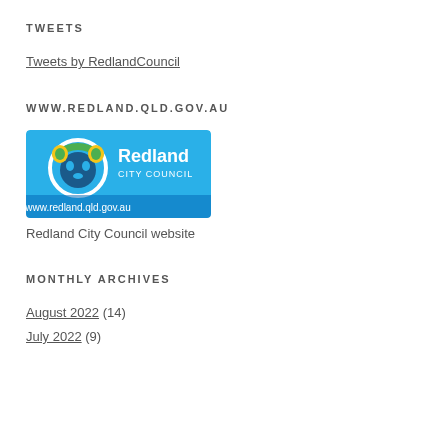TWEETS
Tweets by RedlandCouncil
WWW.REDLAND.QLD.GOV.AU
[Figure (logo): Redland City Council logo on blue background with koala icon and text 'Redland CITY COUNCIL www.redland.qld.gov.au']
Redland City Council website
MONTHLY ARCHIVES
August 2022 (14)
July 2022 (9)